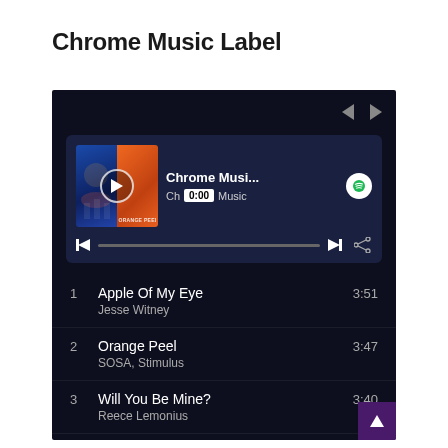Chrome Music Label
[Figure (screenshot): Spotify music player screenshot showing Chrome Music Label playlist with 4 tracks: 1. Apple Of My Eye by Jesse Witney (3:51), 2. Orange Peel by SOSA, Stimulus (3:47), 3. Will You Be Mine? by Reece Lemonius (3:40), 4. Turn To Vapors by Loficat (1:44). Player shows 0:00 timestamp with album art and playback controls.]